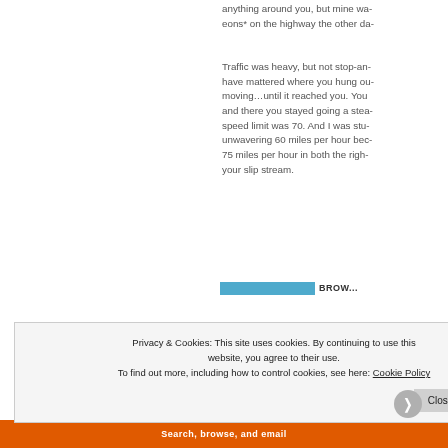anything around you, but mine wa- eons* on the highway the other da-
Traffic was heavy, but not stop-an- have mattered where you hung ou- moving…until it reached you. You and there you stayed going a stea- speed limit was 70. And I was stu- unwavering 60 miles per hour bec- 75 miles per hour in both the righ- your slip stream.
Privacy & Cookies: This site uses cookies. By continuing to use this website, you agree to their use.
To find out more, including how to control cookies, see here: Cookie Policy
Close and accept
Search, browse, and email